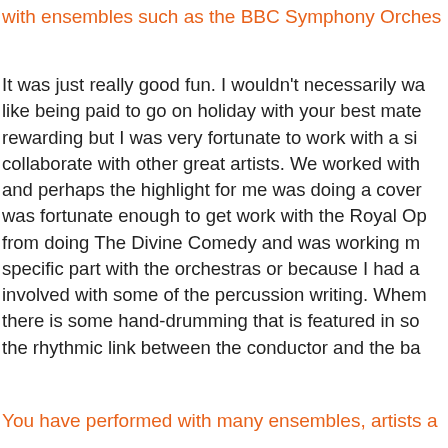with ensembles such as the BBC Symphony Orches…
It was just really good fun. I wouldn't necessarily wa… like being paid to go on holiday with your best mate… rewarding but I was very fortunate to work with a si… collaborate with other great artists. We worked with… and perhaps the highlight for me was doing a cover… was fortunate enough to get work with the Royal Op… from doing The Divine Comedy and was working m… specific part with the orchestras or because I had a… involved with some of the percussion writing. Whem… there is some hand-drumming that is featured in so… the rhythmic link between the conductor and the ba…
You have performed with many ensembles, artists a…